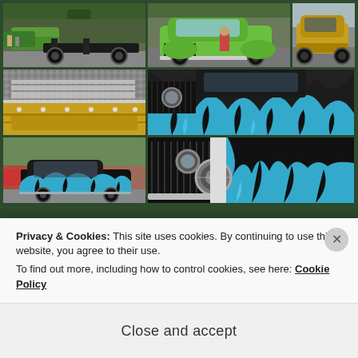[Figure (photo): Photo grid of vintage hot rod and custom cars at a car show. Top row: green custom car with exposed chassis/frame, green vintage sedan front view, gold hot rod rear view. Middle row: close-up of gold car engine/chrome detail, large image of black car with teal/cyan flame paint job on hood. Bottom row: small black car with teal flames full view, same flame car close-up front detail.]
Privacy & Cookies: This site uses cookies. By continuing to use this website, you agree to their use.
To find out more, including how to control cookies, see here: Cookie Policy
Close and accept